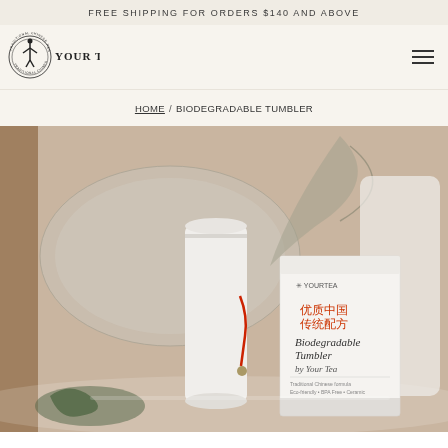FREE SHIPPING FOR ORDERS $140 AND ABOVE
[Figure (logo): Your Tea logo — circular badge with 'TRADITIONAL CHINESE RESTORATIVES' around edge, figure icon in center, 'YOUR TEA' text beside it]
HOME / BIODEGRADABLE TUMBLER
[Figure (photo): Product photo of a white biodegradable tumbler with red tassel and a Your Tea branded box packaging on a glass surface with decorative plate and leaf in background]